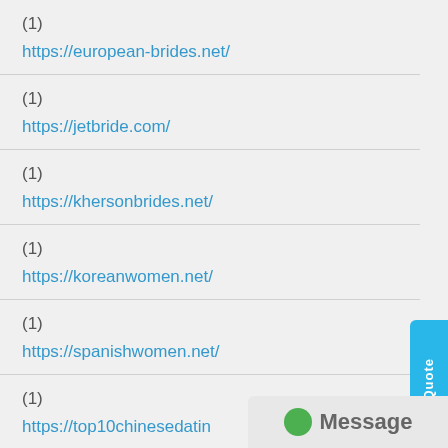(1)
https://european-brides.net/
(1)
https://jetbride.com/
(1)
https://khersonbrides.net/
(1)
https://koreanwomen.net/
(1)
https://spanishwomen.net/
(1)
https://top10chinesedatin...
(1)